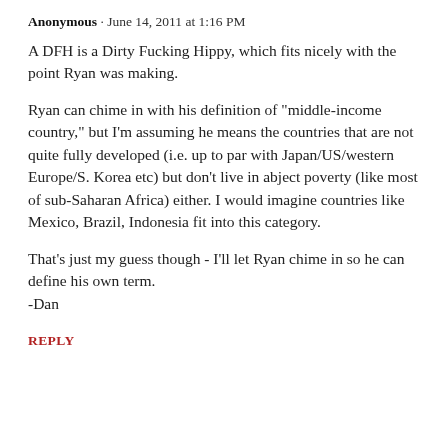Anonymous · June 14, 2011 at 1:16 PM
A DFH is a Dirty Fucking Hippy, which fits nicely with the point Ryan was making.
Ryan can chime in with his definition of "middle-income country," but I'm assuming he means the countries that are not quite fully developed (i.e. up to par with Japan/US/western Europe/S. Korea etc) but don't live in abject poverty (like most of sub-Saharan Africa) either. I would imagine countries like Mexico, Brazil, Indonesia fit into this category.
That's just my guess though - I'll let Ryan chime in so he can define his own term.
-Dan
REPLY